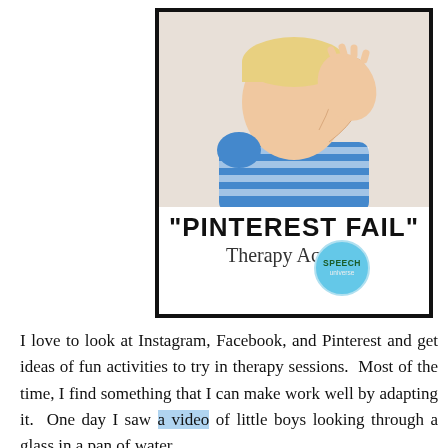[Figure (illustration): Card with a photo of a young boy covering his face with his hand (facepalm gesture), wearing a blue striped shirt. Below the photo the text reads 'PINTEREST FAIL' Therapy Activity with a Speech Universe logo circle.]
I love to look at Instagram, Facebook, and Pinterest and get ideas of fun activities to try in therapy sessions. Most of the time, I find something that I can make work well by adapting it. One day I saw a video of little boys looking through a glass in a pan of water